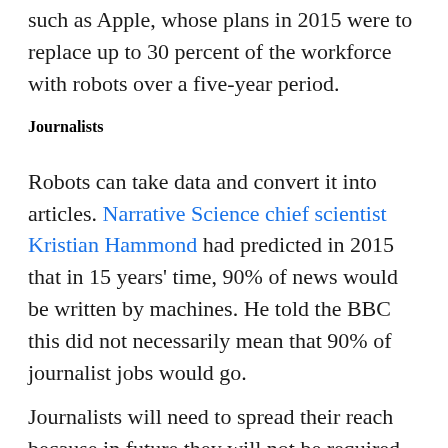such as Apple, whose plans in 2015 were to replace up to 30 percent of the workforce with robots over a five-year period.
Journalists
Robots can take data and convert it into articles. Narrative Science chief scientist Kristian Hammond had predicted in 2015 that in 15 years' time, 90% of news would be written by machines. He told the BBC this did not necessarily mean that 90% of journalist jobs would go.
Journalists will need to spread their reach because in future they will not be required to